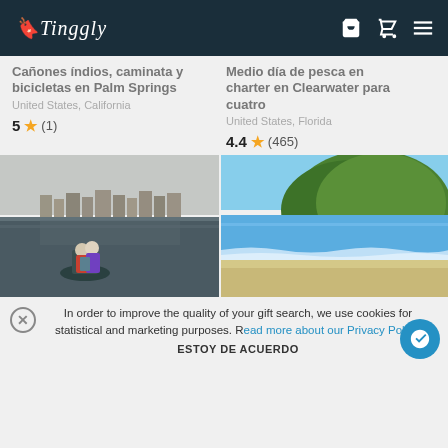Tinggly
Cañones índios, caminata y bicicletas en Palm Springs
United States, California
5 ★ (1)
Medio día de pesca en charter en Clearwater para cuatro
United States, Florida
4.4 ★ (465)
[Figure (photo): Two people in a canoe on dark water with a town in the background]
[Figure (photo): Beach scene with a green forested hill, blue sea, and sandy shore]
In order to improve the quality of your gift search, we use cookies for statistical and marketing purposes. Read more about our Privacy Policy.
ESTOY DE ACUERDO